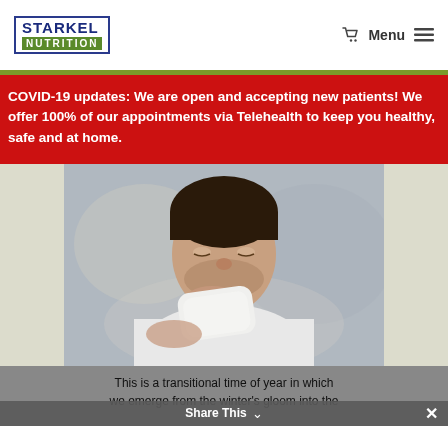STARKEL NUTRITION — Menu
COVID-19 updates: We are open and accepting new patients! We offer 100% of our appointments via Telehealth to keep you healthy, safe and at home.
[Figure (photo): Man blowing his nose into a tissue, wearing a white shirt, blurred background]
This is a transitional time of year in which we emerge from the winter's gloom into the
Share This